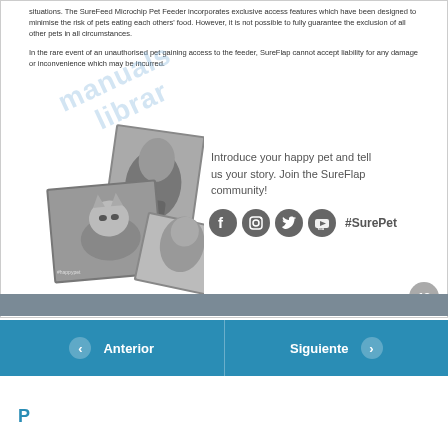situations. The SureFeed Microchip Pet Feeder incorporates exclusive access features which have been designed to minimise the risk of pets eating each others' food. However, it is not possible to fully guarantee the exclusion of all other pets in all circumstances.
In the rare event of an unauthorised pet gaining access to the feeder, SureFlap cannot accept liability for any damage or inconvenience which may be incurred.
[Figure (photo): Collage of black and white pet photos showing cats near a SureFeed pet feeder]
Introduce your happy pet and tell us your story. Join the SureFlap community!
[Figure (other): Social media icons: Facebook, Instagram, Twitter, YouTube with #SurePet hashtag]
18
Anterior
Siguiente